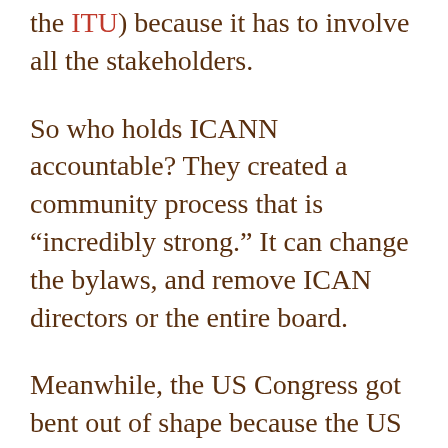the ITU) because it has to involve all the stakeholders.
So who holds ICANN accountable? They created a community process that is “incredibly strong.” It can change the bylaws, and remove ICAN directors or the entire board.
Meanwhile, the US Congress got bent out of shape because the US is “giving away the Internet.” It blocked the NTIA from acting until Sept. 2016. On Oct. 1 IANA became independent and is under the control of the community. “This cannot be undone.” “If the transition